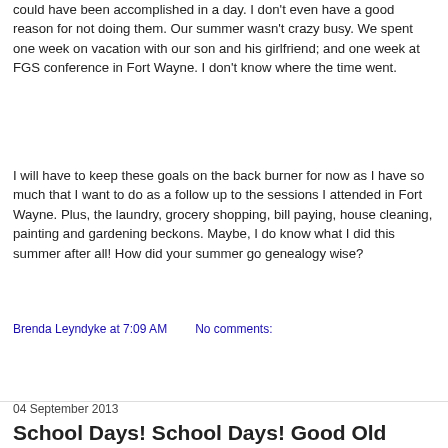could have been accomplished in a day.  I don't even have a good reason for not doing them.  Our summer wasn't crazy busy.  We spent one week on vacation with our son and his girlfriend; and one week at FGS conference in Fort Wayne.  I don't know where the time went.
I will have to keep these goals on the back burner for now as I have so much that I want to do as a follow up to the sessions I attended in Fort Wayne.  Plus, the laundry, grocery shopping, bill paying, house cleaning, painting and gardening beckons.  Maybe, I do know what I did this summer after all!  How did your summer go genealogy wise?
Brenda Leyndyke at 7:09 AM    No comments:
Share
04 September 2013
School Days! School Days! Good Old